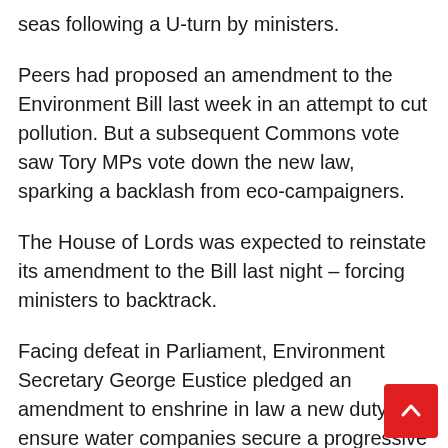seas following a U-turn by ministers.
Peers had proposed an amendment to the Environment Bill last week in an attempt to cut pollution. But a subsequent Commons vote saw Tory MPs vote down the new law, sparking a backlash from eco-campaigners.
The House of Lords was expected to reinstate its amendment to the Bill last night – forcing ministers to backtrack.
Facing defeat in Parliament, Environment Secretary George Eustice pledged an amendment to enshrine in law a new duty 'to ensure water companies secure a progressive reduction in the adverse impacts of discharges